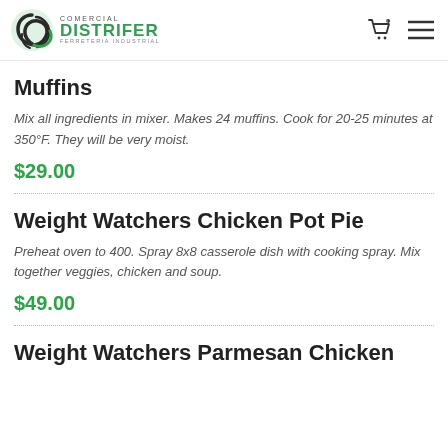Comercial Distrifer - Ferreteria Industrial
Muffins
Mix all ingredients in mixer. Makes 24 muffins. Cook for 20-25 minutes at 350°F. They will be very moist.
$29.00
Weight Watchers Chicken Pot Pie
Preheat oven to 400. Spray 8x8 casserole dish with cooking spray. Mix together veggies, chicken and soup.
$49.00
Weight Watchers Parmesan Chicken